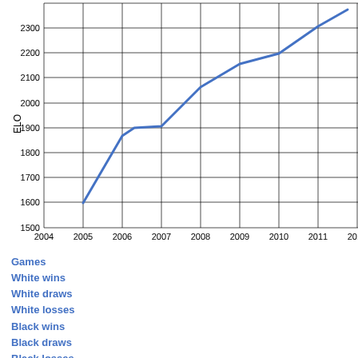[Figure (line-chart): ]
Games
White wins
White draws
White losses
Black wins
Black draws
Black losses